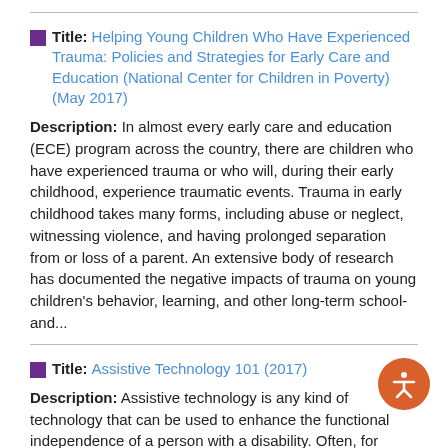Title: Helping Young Children Who Have Experienced Trauma: Policies and Strategies for Early Care and Education (National Center for Children in Poverty) (May 2017)
Description: In almost every early care and education (ECE) program across the country, there are children who have experienced trauma or who will, during their early childhood, experience traumatic events. Trauma in early childhood takes many forms, including abuse or neglect, witnessing violence, and having prolonged separation from or loss of a parent. An extensive body of research has documented the negative impacts of trauma on young children's behavior, learning, and other long-term school-and...
Title: Assistive Technology 101 (2017)
Description: Assistive technology is any kind of technology that can be used to enhance the functional independence of a person with a disability. Often, for people with disabilities, accomplishing daily tasks such as talking with friends, going to school and work, or participating in recreational activities...